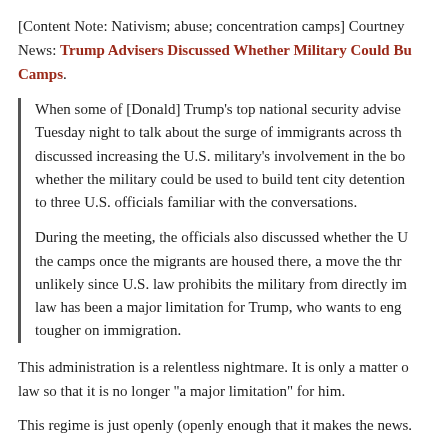[Content Note: Nativism; abuse; concentration camps] Courtney News: Trump Advisers Discussed Whether Military Could Build Camps.
When some of [Donald] Trump's top national security advisers met Tuesday night to talk about the surge of immigrants across the border, they discussed increasing the U.S. military's involvement in the border crisis, including whether the military could be used to build tent city detention camps, according to three U.S. officials familiar with the conversations.

During the meeting, the officials also discussed whether the U.S. military could run the camps once the migrants are housed there, a move the three officials said is unlikely since U.S. law prohibits the military from directly interacting with immigrants. That law has been a major limitation for Trump, who wants to engage the military to be tougher on immigration.
This administration is a relentless nightmare. It is only a matter of time before he changes the law so that it is no longer "a major limitation" for him.
This regime is just openly (openly enough that it makes the news.